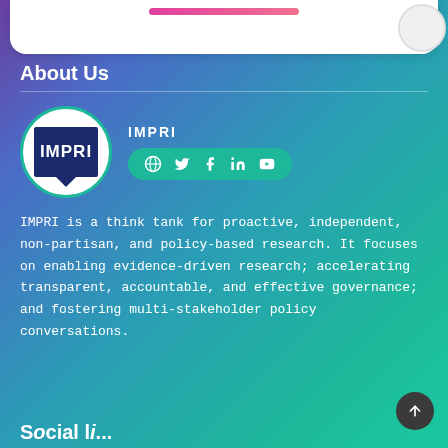[Figure (logo): White card at top of page with pink gradient button/bar]
About Us
[Figure (logo): IMPRI circular logo with dark blue background and white IMPRI text, teal border. Next to it: IMPRI name and social media icon bar (globe, twitter, facebook, linkedin, youtube)]
IMPRI is a think tank for proactive, independent, non-partisan, and policy-based research. It focuses on enabling evidence-driven research; accelerating transparent, accountable, and effective governance; and fostering multi-stakeholder policy conversations.
Social links